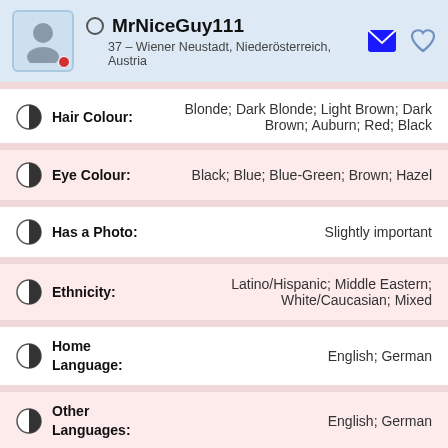MrNiceGuy111
37 – Wiener Neustadt, Niederösterreich, Austria
Hair Colour: Blonde; Dark Blonde; Light Brown; Dark Brown; Auburn; Red; Black
Eye Colour: Black; Blue; Blue-Green; Brown; Hazel
Has a Photo: Slightly important
Ethnicity: Latino/Hispanic; Middle Eastern; White/Caucasian; Mixed
Home Language: English; German
Other Languages: English; German